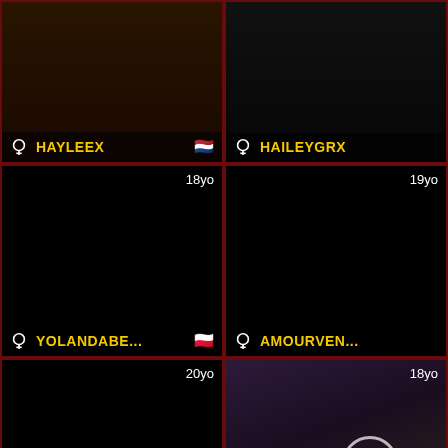[Figure (screenshot): Thumbnail for HAYLEEX, female streamer, Netherlands flag]
[Figure (screenshot): Thumbnail for HAILEYGRX, female streamer, 19yo]
[Figure (screenshot): Thumbnail for YOLANDABE..., female streamer, 18yo, Poland flag]
[Figure (screenshot): Thumbnail for AMOURVEN..., female streamer, 19yo]
[Figure (screenshot): Thumbnail for AMICLICK, female streamer, 20yo, Seychelles flag]
[Figure (screenshot): Thumbnail for MONIKABLO..., female streamer, 18yo]
[Figure (screenshot): Dark thumbnail, 23yo]
[Figure (screenshot): Dark thumbnail, 26yo]